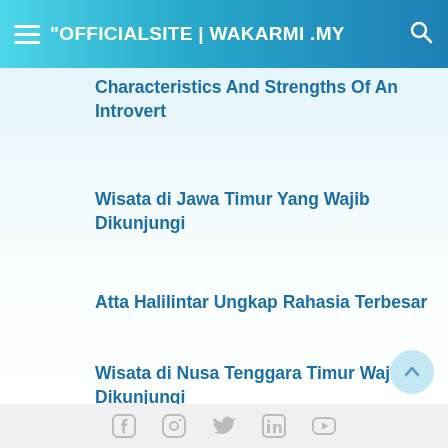"OFFICIALSITE | WAKARMI.MY
Characteristics And Strengths Of An Introvert
Wisata di Jawa Timur Yang Wajib Dikunjungi
Atta Halilintar Ungkap Rahasia Terbesar
Wisata di Nusa Tenggara Timur Wajib Dikunjungi
[Social media icons: Facebook, Instagram, Twitter, LinkedIn, YouTube]